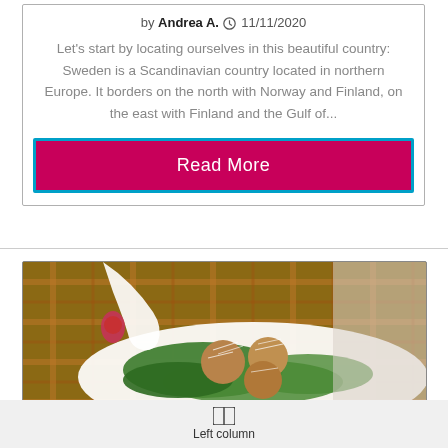by Andrea A. 11/11/2020
Let's start by locating ourselves in this beautiful country: Sweden is a Scandinavian country located in northern Europe. It borders on the north with Norway and Finland, on the east with Finland and the Gulf of...
Read More
[Figure (photo): Close-up photo of meatballs with greens and grated cheese on a white plate, on a patterned tablecloth background.]
Left column